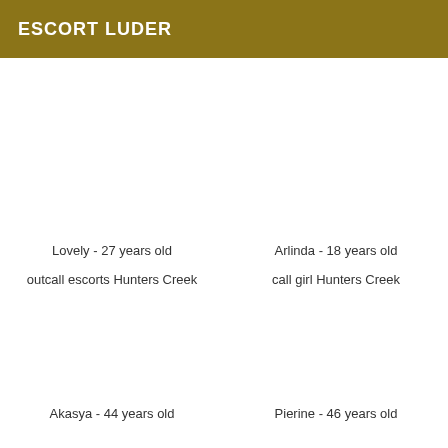ESCORT LUDER
Lovely - 27 years old
outcall escorts Hunters Creek
Arlinda - 18 years old
call girl Hunters Creek
Akasya - 44 years old
Pierine - 46 years old